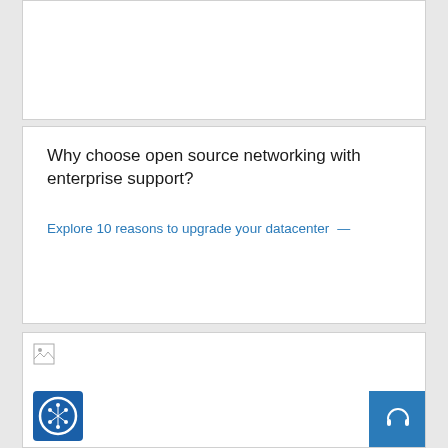[Figure (other): White card area at top, content not visible (blank white space)]
Why choose open source networking with enterprise support?
Explore 10 reasons to upgrade your datacenter →
[Figure (other): White card area at bottom with broken image icon, cookie logo icon at bottom left, and blue support/headset button at bottom right]